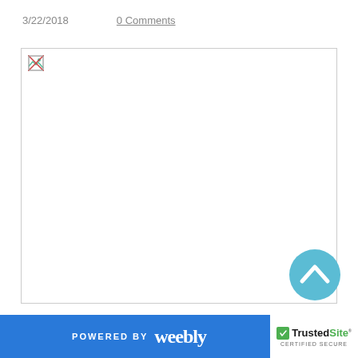3/22/2018
0 Comments
[Figure (photo): Broken image placeholder with small broken image icon in top-left corner, large white rectangle with border]
POWERED BY weebly   TrustedSite CERTIFIED SECURE